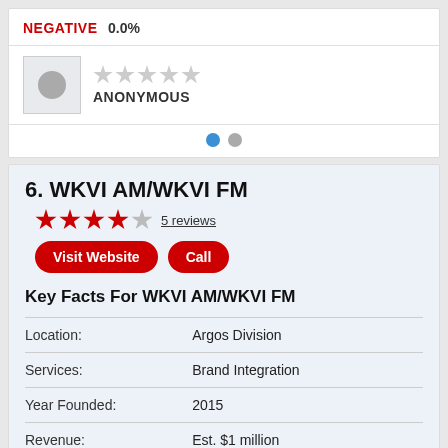NEGATIVE   0.0%
[Figure (other): Anonymous reviewer avatar placeholder with empty star rating]
ANONYMOUS
Pagination dots: active and inactive
6. WKVI AM/WKVI FM
4 stars out of 5 — 5 reviews
Visit Website   Call
Key Facts For WKVI AM/WKVI FM
|  |  |
| --- | --- |
| Location: | Argos Division |
| Services: | Brand Integration |
| Year Founded: | 2015 |
| Revenue: | Est. $1 million |
| Fulltime Employees: | 1 - 10 |